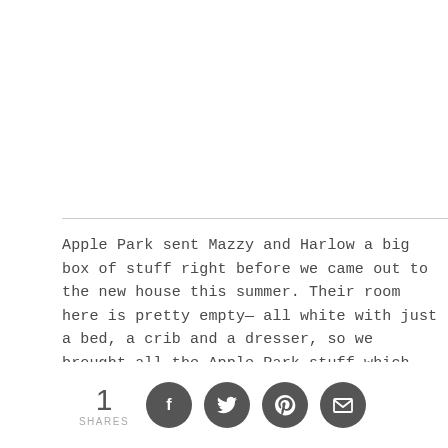Apple Park sent Mazzy and Harlow a big box of stuff right before we came out to the new house this summer. Their room here is pretty empty— all white with just a bed, a crib and a dresser, so we brought all the Apple Park stuff which has helped make their room look more like home.

If you are not a huge fan of pink, they make plenty of animals to appeal to every kid.
[Figure (photo): Partial image strip visible at bottom of content area, light gray background]
1 SHARES [Facebook icon] [Twitter icon] [Pinterest icon] [Email icon]